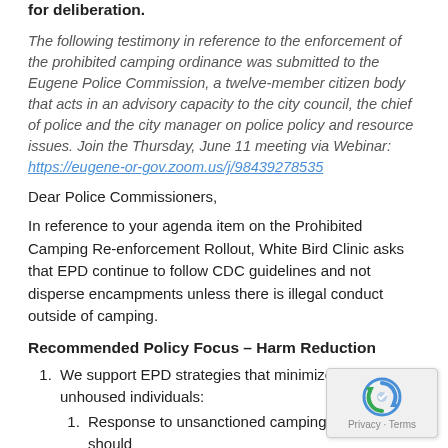for deliberation.
The following testimony in reference to the enforcement of the prohibited camping ordinance was submitted to the Eugene Police Commission, a twelve-member citizen body that acts in an advisory capacity to the city council, the chief of police and the city manager on police policy and resource issues. Join the Thursday, June 11 meeting via Webinar: https://eugene-or-gov.zoom.us/j/98439278535
Dear Police Commissioners,
In reference to your agenda item on the Prohibited Camping Re-enforcement Rollout, White Bird Clinic asks that EPD continue to follow CDC guidelines and not disperse encampments unless there is illegal conduct outside of camping.
Recommended Policy Focus – Harm Reduction
We support EPD strategies that minimize impacts to unhoused individuals:
Response to unsanctioned camping complaints should